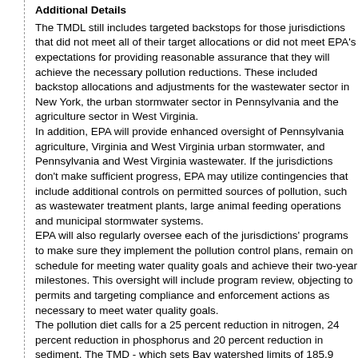Additional Details
The TMDL still includes targeted backstops for those jurisdictions that did not meet all of their target allocations or did not meet EPA's expectations for providing reasonable assurance that they will achieve the necessary pollution reductions. These included backstop allocations and adjustments for the wastewater sector in New York, the urban stormwater sector in Pennsylvania and the agriculture sector in West Virginia. In addition, EPA will provide enhanced oversight of Pennsylvania agriculture, Virginia and West Virginia urban stormwater, and Pennsylvania and West Virginia wastewater. If the jurisdictions don't make sufficient progress, EPA may utilize contingencies that include additional controls on permitted sources of pollution, such as wastewater treatment plants, large animal feeding operations and municipal stormwater systems. EPA will also regularly oversee each of the jurisdictions' programs to make sure they implement the pollution control plans, remain on schedule for meeting water quality goals and achieve their two-year milestones. This oversight will include program review, objecting to permits and targeting compliance and enforcement actions as necessary to meet water quality goals. The pollution diet calls for a 25 percent reduction in nitrogen, 24 percent reduction in phosphorus and 20 percent reduction in sediment. The TMD - which sets Bay watershed limits of 185.9 million pounds of nitrogen, 12.5 million pounds of phosphorus and 6.45 billion pounds of sediment